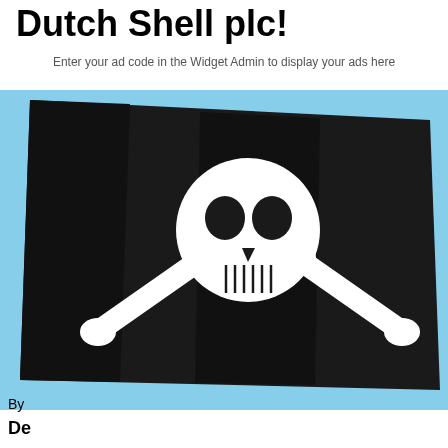Dutch Shell plc!
Enter your ad code in the Widget Admin to display your ads here
[Figure (photo): A pirate flag (Jolly Roger) with skull and crossbones waving against a blue sky]
By
De
Royal Dutch Shell Group .com Cookies Policy
Our Website uses cookies to improve your experience. Please visit our Privacy page for more information about cookies and how we use them.